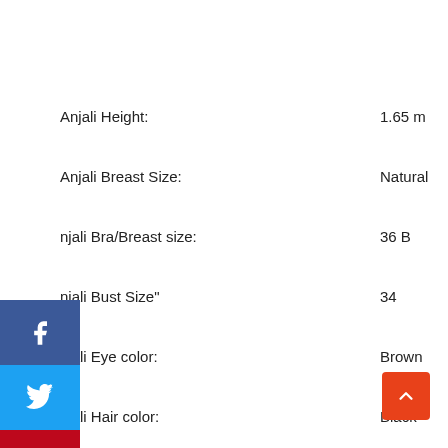Anjali Height: 1.65 m
Anjali Breast Size: Natural
njali Bra/Breast size: 36 B
njali Bust Size": 34
njali Eye color: Brown
njali Hair color: Black
njali Body type: Hourglass
Anjali Body Sizes: 34-26-36 inches